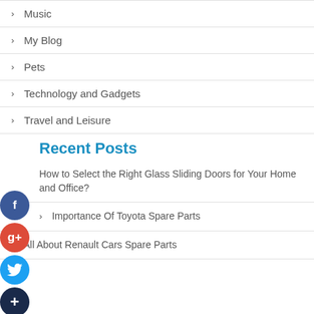Music
My Blog
Pets
Technology and Gadgets
Travel and Leisure
Recent Posts
How to Select the Right Glass Sliding Doors for Your Home and Office?
Importance Of Toyota Spare Parts
All About Renault Cars Spare Parts